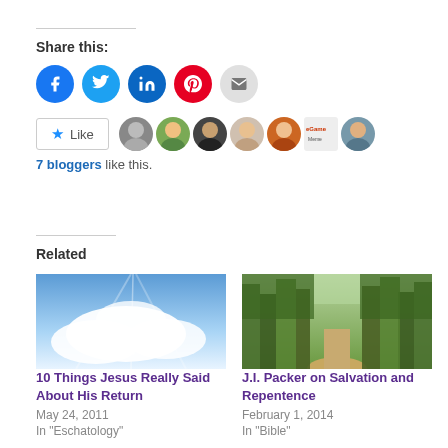Share this:
[Figure (infographic): Social sharing icons: Facebook (blue circle), Twitter (cyan circle), LinkedIn (dark teal circle), Pinterest (red circle), Email (light gray circle)]
[Figure (infographic): Like button with star icon and 7 blogger avatar thumbnails]
7 bloggers like this.
Related
[Figure (photo): Sky with clouds and blue sky, related article image]
10 Things Jesus Really Said About His Return
May 24, 2011
In "Eschatology"
[Figure (photo): Forest path through green trees, related article image]
J.I. Packer on Salvation and Repentence
February 1, 2014
In "Bible"